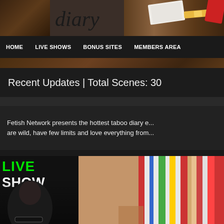[Figure (screenshot): Website screenshot showing wood textured background with logo area at top]
HOME    LIVE SHOWS    BONUS SITES    MEMBERS AREA
Recent Updates | Total Scenes: 30
Fetish Network presents the hottest taboo diary e... are wild, have few limits and love everything from...
[Figure (photo): Live show promotional image with woman in bondage collar, green LIVE SHOW text overlay]
[Figure (photo): Colorful striped fabric/textile image in bottom right area]